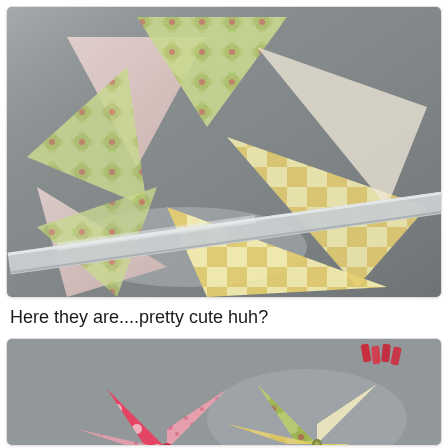[Figure (photo): Photo of colorful paper pinwheel pieces being cut with a metal ruler on a metallic surface. Papers include pink, yellow/cream checkered pattern and green floral patterned paper arranged in a pinwheel layout.]
Here they are....pretty cute huh?
[Figure (photo): Photo of two completed paper pinwheels on a metallic surface. One pinwheel is pink with red polka dots and cherry/floral pattern, the other is yellow/cream with green floral pattern. Small red wooden clothespins are visible in the upper right corner.]